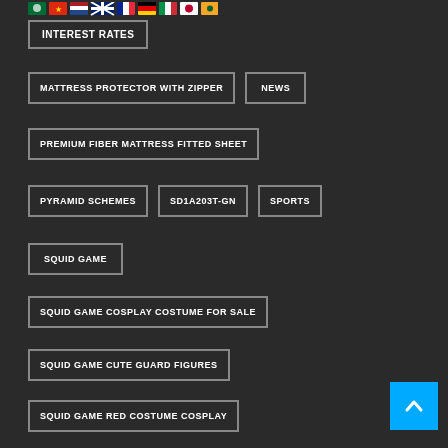INTEREST RATES
MATTRESS PROTECTOR WITH ZIPPER
NEWS
PREMIUM FIBER MATTRESS FITTED SHEET
PYRAMID SCHEMES
SD1A203T-GN
SPORTS
SQUID GAME
SQUID GAME COSPLAY COSTUME FOR SALE
SQUID GAME CUTE GUARD FIGURES
SQUID GAME RED COSTUME COSPLAY